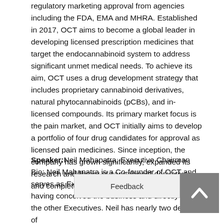regulatory marketing approval from agencies including the FDA, EMA and MHRA. Established in 2017, OCT aims to become a global leader in developing licensed prescription medicines that target the endocannabinoid system to address significant unmet medical needs. To achieve its aim, OCT uses a drug development strategy that includes proprietary cannabinoid derivatives, natural phytocannabinoids (pCBs), and in-licensed compounds. Its primary market focus is the pain market, and OCT initially aims to develop a portfolio of four drug candidates for approval as licensed pain medicines. Since inception, the company has grown significantly, expanded its research and library of cannabinoid derivatives, and completed four rounds of investment.
Speaker: Neil Mahapatra, Executive Chairman Bio: Neil Mahapatra is a Co-founder of OCT and serves as Executive Chairman of the Company, having conceived the business and directly hired the other Executives. Neil has nearly two decades of